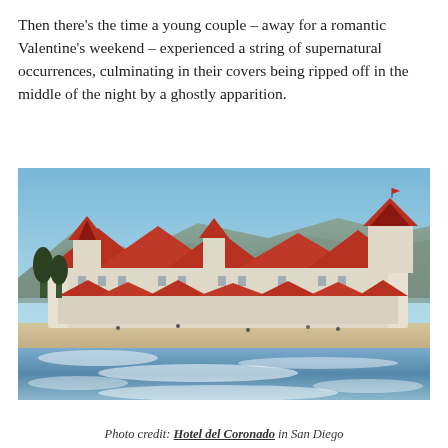Then there's the time a young couple – away for a romantic Valentine's weekend – experienced a string of supernatural occurrences, culminating in their covers being ripped off in the middle of the night by a ghostly apparition.
[Figure (photo): Aerial/beachside view of the Hotel del Coronado in San Diego, showing the iconic red-roofed Victorian resort building against a backdrop of mountains and blue sky, with a sandy beach and ocean waves in the foreground.]
Photo credit: Hotel del Coronado in San Diego